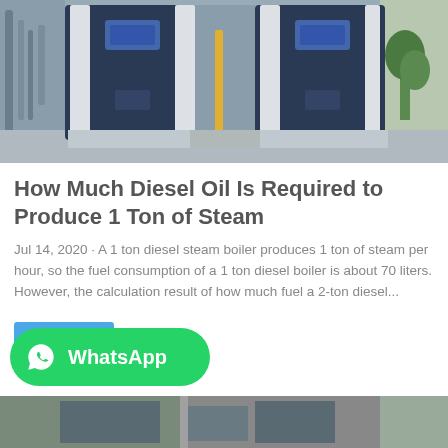[Figure (photo): Industrial boiler room with two large dark blue/navy boiler units mounted on concrete plinths in a facility with pipes and a plant visible in the background.]
How Much Diesel Oil Is Required to Produce 1 Ton of Steam
Jul 14, 2020 · A 1 ton diesel steam boiler produces 1 ton of steam per hour, so the fuel consumption of a 1 ton diesel boiler is about 70 liters. However, the calculation result of how much fuel a 2-ton diesel...
[Figure (photo): Partial view of another industrial boiler or equipment room visible at the bottom of the page.]